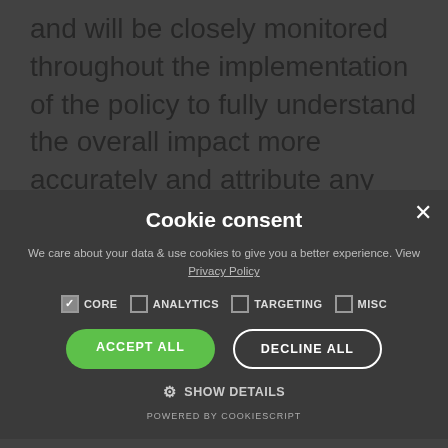and will be closely monitored throughout the implementation of the policy to fully understand the overall impact more accurately and attribute any positive outcomes back to the Swae pilot.
[Figure (screenshot): Cookie consent modal overlay on a dark semi-transparent background. Contains title 'Cookie consent', description text about data and cookies, checkbox options for CORE (checked), ANALYTICS, TARGETING, MISC, an ACCEPT ALL green button, DECLINE ALL outlined button, SHOW DETAILS with gear icon, and POWERED BY COOKIESCRIPT footer. A close X button is in the top right.]